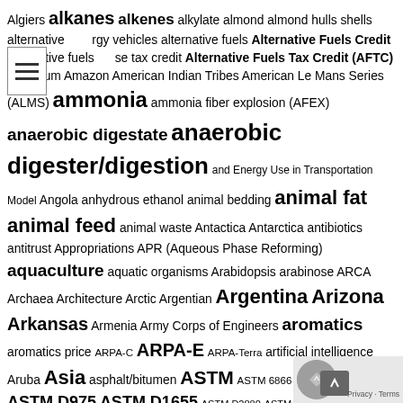Algiers alkanes alkenes alkylate almond almond hulls shells alternative energy vehicles alternative fuels Alternative Fuels Credit alternative fuels use tax credit Alternative Fuels Tax Credit (AFTC) aluminum Amazon American Indian Tribes American Le Mans Series (ALMS) ammonia ammonia fiber explosion (AFEX) anaerobic digestate anaerobic digester/digestion and Energy Use in Transportation Model Angola anhydrous ethanol animal bedding animal fat animal feed animal waste Antactica Antarctica antibiotics antitrust Appropriations APR (Aqueous Phase Reforming) aquaculture aquatic organisms Arabidopsis arabinose ARCA Archaea Architecture Arctic Argentian Argentina Arizona Arkansas Armenia Army Corps of Engineers aromatics aromatics price ARPA-C ARPA-E ARPA-Terra artificial intelligence Aruba Asia asphalt/bitumen ASTM ASTM 6866 ASTM D396 ASTM D975 ASTM D1655 ASTM D2880 ASTM D4054 ASTM D4806 Denatured fuel ethanol ASTM D4814 ASTM D5798 ASTM D6751 ASTM D7467 (B6-B20) ASTM D7544 ASTM D7566 (Standard Specification for Aviation Turbine Fuel Containing Synthesized Hydrocarbons) ASTM D7862 ASTM D7901 (DMF-Dimethyl Ether for Fuel Purposes) ASTM D8076 ASTM D8181 AS… ASTM standards ASTM WK55232 (D02) ASTM WK63392 ATJ-S… (Alcohol to Jet Synthetic Paraffinic Kerosene) Atlantic Canada…